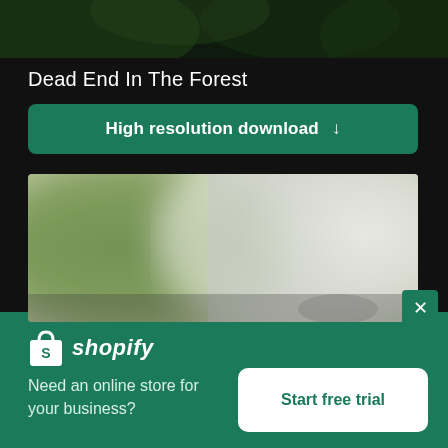[Figure (screenshot): Top strip showing dark forest/trees image]
Dead End In The Forest
[Figure (other): Green rounded button labeled 'High resolution download' with down arrow]
[Figure (photo): Blurred preview image of forest/foggy scene with green and white tones]
[Figure (logo): Shopify logo with shopping bag icon and italic text 'shopify']
Need an online store for your business?
[Figure (other): White rounded button labeled 'Start free trial' in green text]